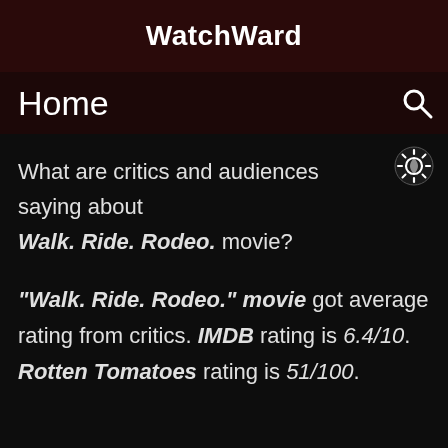WatchWard
Home
What are critics and audiences saying about Walk. Ride. Rodeo. movie?
"Walk. Ride. Rodeo." movie got average rating from critics. IMDB rating is 6.4/10. Rotten Tomatoes rating is 51/100.